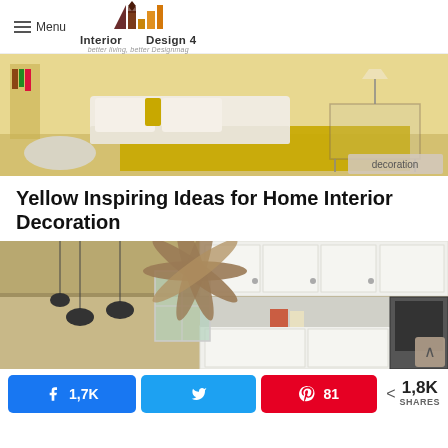Menu | Interior Design 4 — better living, better Designmag
[Figure (photo): Yellow-themed living room interior with sofa, yellow rug, ottoman, glass table, and 'decoration' badge in corner]
Yellow Inspiring Ideas for Home Interior Decoration
[Figure (photo): Kitchen interior with ceiling fan, white cabinets, pendant lights, and window]
1,7K  [Twitter share]  81  < 1,8K SHARES